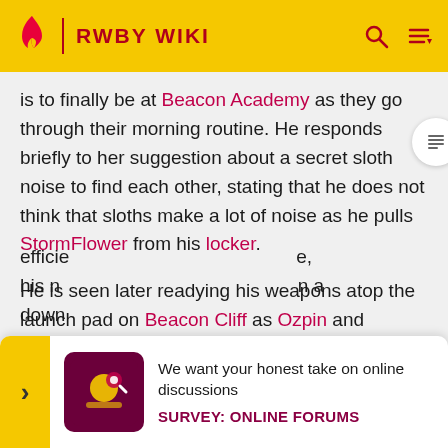RWBY WIKI
is to finally be at Beacon Academy as they go through their morning routine. He responds briefly to her suggestion about a secret sloth noise to find each other, stating that he does not think that sloths make a lot of noise as he pulls StormFlower from his locker.

He is seen later readying his weapons atop the launch pad on Beacon Cliff as Ozpin and Glynda Goodwitch brief the students on the objectives of their initiation. After being launched into the sky, Ren uses the knife-like edges of StormFlower to make a safe landing in a quick and efficie... e, his n... n a down...
[Figure (screenshot): Survey banner overlay: We want your honest take on online discussions. SURVEY: ONLINE FORUMS]